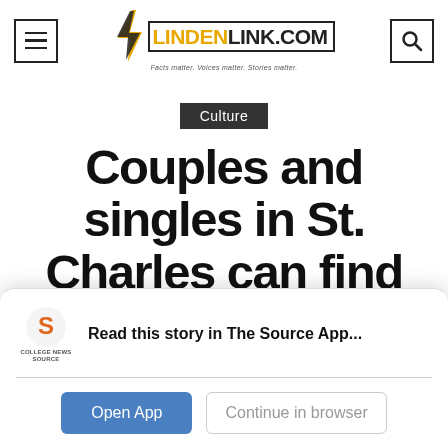LindenLink.com — Facts matter. Voices matter. Stories matter.
Culture
Couples and singles in St. Charles can find these Valentine's
Read this story in The Source App...
Open App   Continue in browser